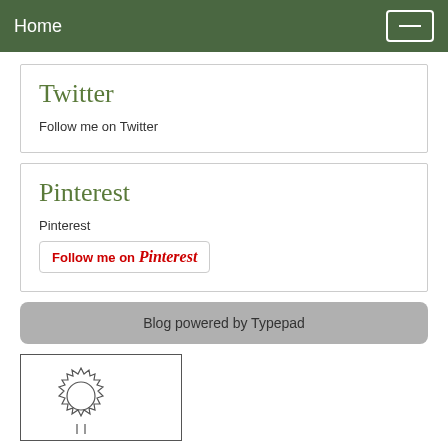Home
Twitter
Follow me on Twitter
Pinterest
Pinterest
Follow me on Pinterest
Blog powered by Typepad
[Figure (illustration): A circular gear or sun-like illustration with jagged edges inside a rectangular border]